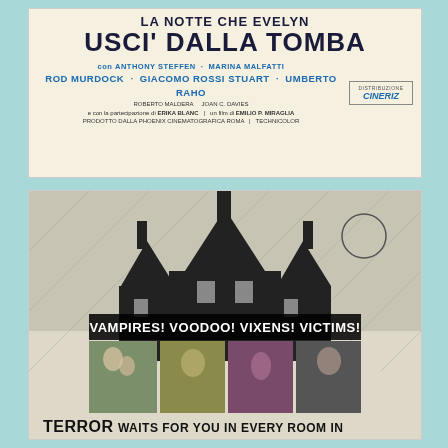[Figure (illustration): Italian movie poster for horror film. Text reads: 'LA NOTTE CHE EVELYN USCI DALLA TOMBA'. Cast includes Anthony Steffen, Marina Malfatti, Rod Murdock, Giacomo Rossi Stuart, Umberto Raho, Erika Blanc. Director: Emilio P. Miraglia. Distributor: Cineriz.]
[Figure (illustration): English movie poster with haunted house illustration and text 'VAMPIRES! VOODOO! VIXENS! VICTIMS!' with four film stills below showing horror scenes. Bottom text: 'TERROR WAITS FOR YOU IN EVERY ROOM IN']